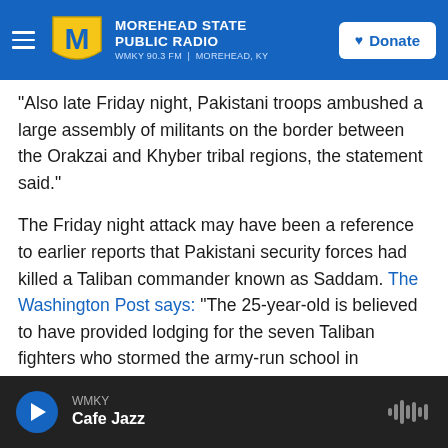Morehead State Public Radio — WMKY 90.3 FM | Morehead, KY — Donate
"Also late Friday night, Pakistani troops ambushed a large assembly of militants on the border between the Orakzai and Khyber tribal regions, the statement said."
The Friday night attack may have been a reference to earlier reports that Pakistani security forces had killed a Taliban commander known as Saddam. The Washington Post says: "The 25-year-old is believed to have provided lodging for the seven Taliban fighters who stormed the army-run school in Peshawar on Dec. 16, according to local officials. He helped guide the fighters, all of whom were
WMKY — Cafe Jazz